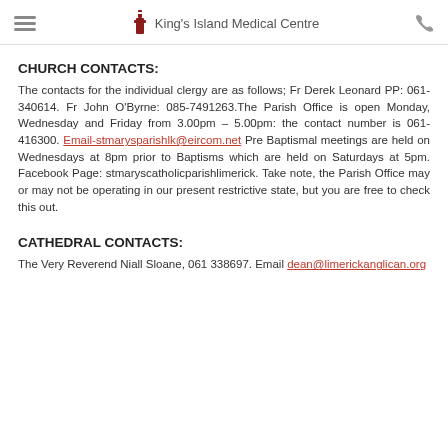King's Island Medical Centre
CHURCH CONTACTS:
The contacts for the individual clergy are as follows; Fr Derek Leonard PP: 061-340614. Fr John O'Byrne: 085-7491263.The Parish Office is open Monday, Wednesday and Friday from 3.00pm – 5.00pm: the contact number is 061-416300. Email-stmarysparishlk@eircom.net Pre Baptismal meetings are held on Wednesdays at 8pm prior to Baptisms which are held on Saturdays at 5pm. Facebook Page: stmaryscatholicparishlimerick. Take note, the Parish Office may or may not be operating in our present restrictive state, but you are free to check this out.
CATHEDRAL CONTACTS:
The Very Reverend Niall Sloane, 061 338697. Email dean@limerickanglican.org